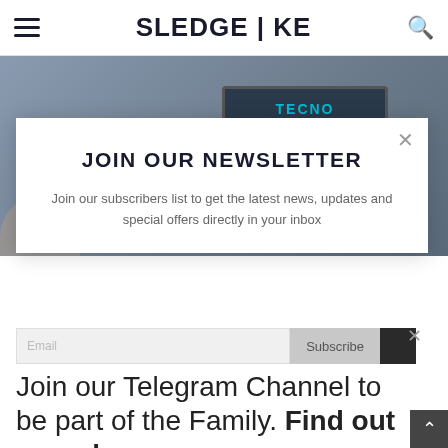SLEDGE | KE
[Figure (screenshot): Background photo showing a laptop with TECNO branding, blurred/dark background]
JOIN OUR NEWSLETTER
Join our subscribers list to get the latest news, updates and special offers directly in your inbox
Join our Telegram Channel to be part of the Family. Find out more here